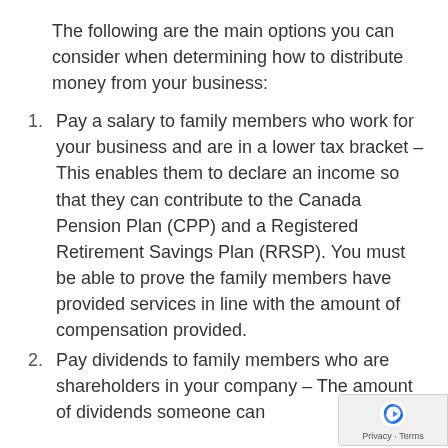The following are the main options you can consider when determining how to distribute money from your business:
Pay a salary to family members who work for your business and are in a lower tax bracket – This enables them to declare an income so that they can contribute to the Canada Pension Plan (CPP) and a Registered Retirement Savings Plan (RRSP). You must be able to prove the family members have provided services in line with the amount of compensation provided.
Pay dividends to family members who are shareholders in your company – The amount of dividends someone can